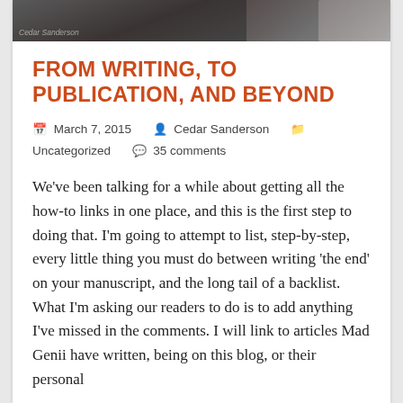[Figure (photo): Hero/banner image at top of blog post, dark photograph partially visible]
FROM WRITING, TO PUBLICATION, AND BEYOND
March 7, 2015   Cedar Sanderson   Uncategorized   35 comments
We've been talking for a while about getting all the how-to links in one place, and this is the first step to doing that. I'm going to attempt to list, step-by-step, every little thing you must do between writing 'the end' on your manuscript, and the long tail of a backlist. What I'm asking our readers to do is to add anything I've missed in the comments. I will link to articles Mad Genii have written, being on this blog, or their personal blogs, and so on. There are still a lot to fill in,